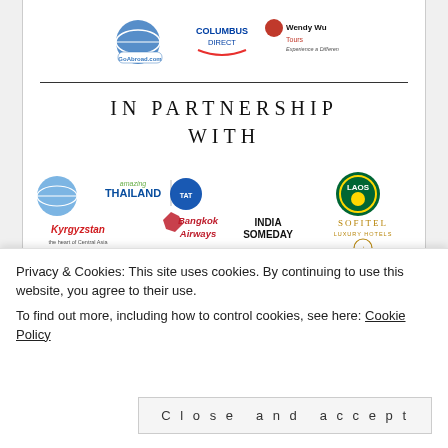[Figure (logo): Top sponsor logos: GoAbroad.com, Columbus Direct, Wendy Wu Tours]
IN PARTNERSHIP WITH
[Figure (logo): Partner logos grid: Amazing Thailand, Bangkok Airways, India Someday, Sofitel, Kyrgyzstan, FlipKey, Lonely Planet, Wego, G Adventures, Hostelworld, Uttlar Pradesh, Holiday Seoul, Incredible India, Laos tourism logo, and others]
Privacy & Cookies: This site uses cookies. By continuing to use this website, you agree to their use.
To find out more, including how to control cookies, see here: Cookie Policy
Close and accept